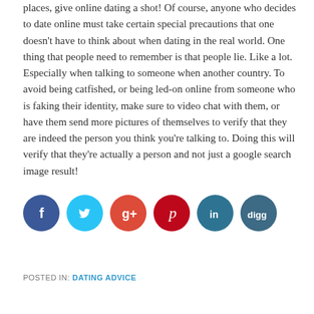places, give online dating a shot! Of course, anyone who decides to date online must take certain special precautions that one doesn't have to think about when dating in the real world. One thing that people need to remember is that people lie. Like a lot. Especially when talking to someone when another country. To avoid being catfished, or being led-on online from someone who is faking their identity, make sure to video chat with them, or have them send more pictures of themselves to verify that they are indeed the person you think you're talking to. Doing this will verify that they're actually a person and not just a google search image result!
[Figure (infographic): Row of six social media share buttons: Facebook (dark blue), Twitter (light blue), Google+ (red-orange), Pinterest (dark red), LinkedIn (teal/dark blue), Digg (dark blue-grey)]
POSTED IN: DATING ADVICE